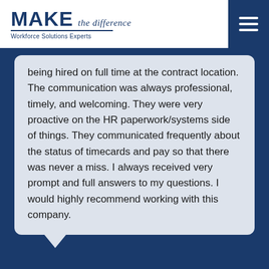MAKE the difference — Workforce Solutions Experts
being hired on full time at the contract location. The communication was always professional, timely, and welcoming. They were very proactive on the HR paperwork/systems side of things. They communicated frequently about the status of timecards and pay so that there was never a miss. I always received very prompt and full answers to my questions. I would highly recommend working with this company.